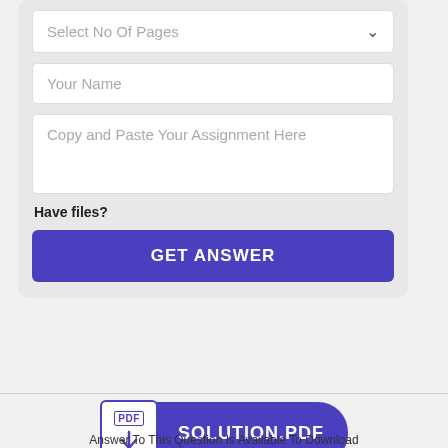[Figure (screenshot): Web form with dropdown 'Select No Of Pages', text input 'Your Name', textarea 'Copy and Paste Your Assignment Here', 'Have files?' label, and a purple 'GET ANSWER' button]
Have files?
GET ANSWER
[Figure (other): PDF download badge with PDF icon and purple pill label 'SOLUTION.PDF']
Answer To This Question Is Available To Download